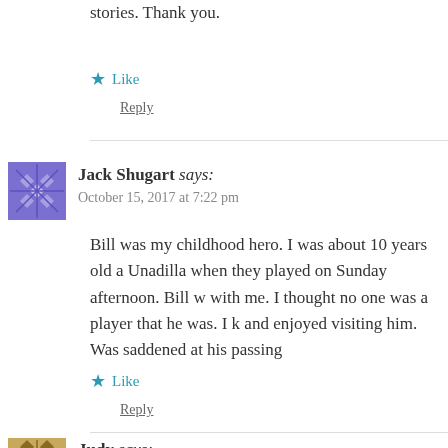stories. Thank you.
Like
Reply
Jack Shugart says:
October 15, 2017 at 7:22 pm
Bill was my childhood hero. I was about 10 years old a Unadilla when they played on Sunday afternoon. Bill w with me. I thought no one was a player that he was. I k and enjoyed visiting him. Was saddened at his passing
Like
Reply
Judy says: